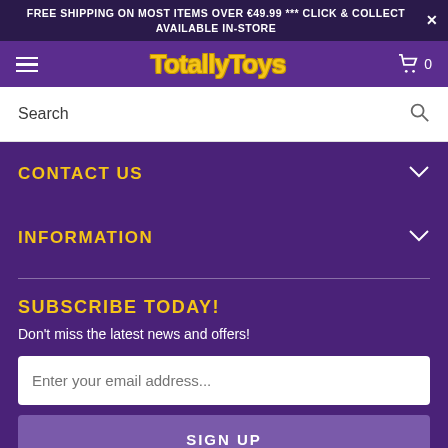FREE SHIPPING ON MOST ITEMS OVER €49.99 *** CLICK & COLLECT AVAILABLE IN-STORE
[Figure (logo): Totally Toys logo in yellow with navigation hamburger menu and cart icon on purple background]
Search
CONTACT US
INFORMATION
SUBSCRIBE TODAY!
Don't miss the latest news and offers!
Enter your email address...
SIGN UP